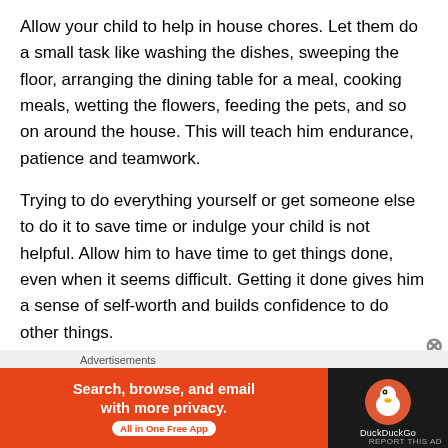Allow your child to help in house chores. Let them do a small task like washing the dishes, sweeping the floor, arranging the dining table for a meal, cooking meals, wetting the flowers, feeding the pets, and so on around the house. This will teach him endurance, patience and teamwork.
Trying to do everything yourself or get someone else to do it to save time or indulge your child is not helpful. Allow him to have time to get things done, even when it seems difficult. Getting it done gives him a sense of self-worth and builds confidence to do other things.
Create an enabling environment at home
[Figure (other): DuckDuckGo advertisement banner with orange left panel saying 'Search, browse, and email with more privacy. All in One Free App' and dark right panel with DuckDuckGo logo]